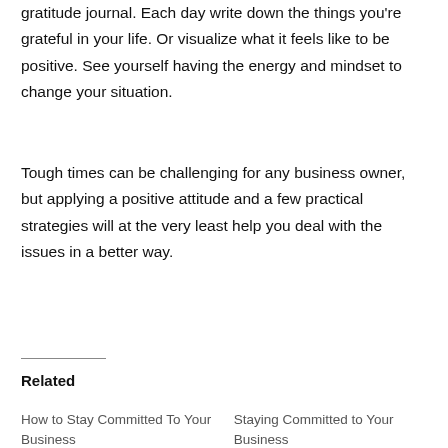gratitude journal. Each day write down the things you're grateful in your life. Or visualize what it feels like to be positive. See yourself having the energy and mindset to change your situation.
Tough times can be challenging for any business owner, but applying a positive attitude and a few practical strategies will at the very least help you deal with the issues in a better way.
Related
How to Stay Committed To Your Business
Staying Committed to Your Business